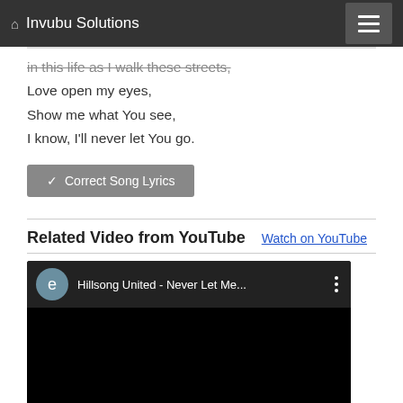Invubu Solutions
in this life as I walk these streets,
Love open my eyes,
Show me what You see,
I know, I'll never let You go.
✓ Correct Song Lyrics
Related Video from YouTube   Watch on YouTube
[Figure (screenshot): YouTube video thumbnail showing 'Hillsong United - Never Let Me...' with a dark avatar circle with letter 'e', video title text, three-dot menu, and black video area below]